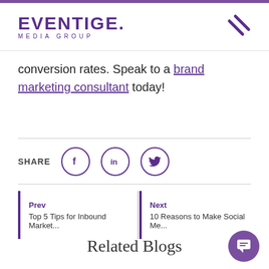EVENTIGE. MEDIA GROUP
conversion rates. Speak to a brand marketing consultant today!
[Figure (infographic): Social share icons row: SHARE label followed by Facebook, LinkedIn, and Twitter icons in purple circles]
Prev
Top 5 Tips for Inbound Market...
Next
10 Reasons to Make Social Me...
Related Blogs